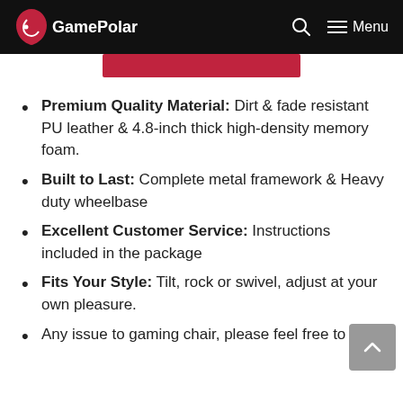GamePolar — Menu
[Figure (other): Red button/bar partially visible below header]
Premium Quality Material: Dirt & fade resistant PU leather & 4.8-inch thick high-density memory foam.
Built to Last: Complete metal framework & Heavy duty wheelbase
Excellent Customer Service: Instructions included in the package
Fits Your Style: Tilt, rock or swivel, adjust at your own pleasure.
Any issue to gaming chair, please feel free to